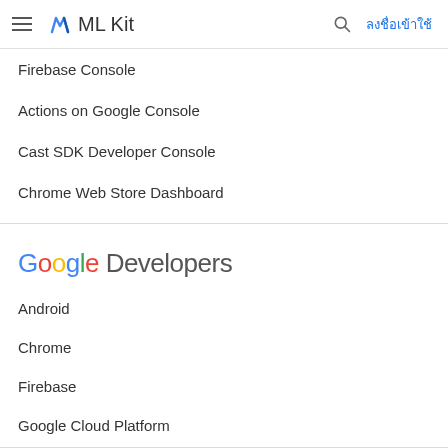ML Kit
Firebase Console
Actions on Google Console
Cast SDK Developer Console
Chrome Web Store Dashboard
[Figure (logo): Google Developers logo with colorful Google letters]
Android
Chrome
Firebase
Google Cloud Platform
All products